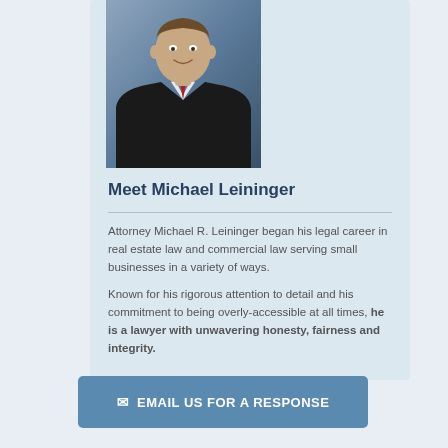[Figure (photo): Professional headshot of Attorney Michael R. Leininger in a dark suit with red tie, against a blue background]
Meet Michael Leininger
Attorney Michael R. Leininger began his legal career in real estate law and commercial law serving small businesses in a variety of ways.
Known for his rigorous attention to detail and his commitment to being overly-accessible at all times, he is a lawyer with unwavering honesty, fairness and integrity.
EMAIL US FOR A RESPONSE